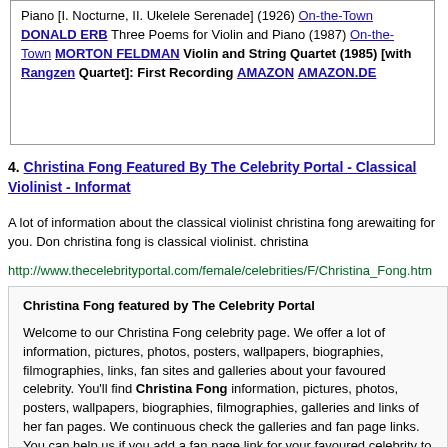Piano [I. Nocturne, II. Ukelele Serenade] (1926) On-the-Town DONALD ERB Three Poems for Violin and Piano (1987) On-the-Town MORTON FELDMAN Violin and String Quartet (1985) [with Rangzen Quartet]: First Recording AMAZON AMAZON.DE
4. Christina Fong Featured By The Celebrity Portal - Classical Violinist - Informat
A lot of information about the classical violinist christina fong arewaiting for you. Don christina fong is classical violinist. christina
http://www.thecelebrityportal.com/female/celebrities/F/Christina_Fong.htm
Christina Fong featured by The Celebrity Portal

Welcome to our Christina Fong celebrity page. We offer a lot of information, pictures, photos, posters, wallpapers, biographies, filmographies, links, fan sites and galleries about your favoured celebrity. You'll find Christina Fong information, pictures, photos, posters, wallpapers, biographies, filmographies, galleries and links of her fan pages. We continuous check the galleries and fan page links. You can help us if you add a fan page link for your favoured celebrity to our list. Just visit our celebrity portal today. A lot of information about the classical violinist Christina Fong arewaiting for you. Don't miss to visit